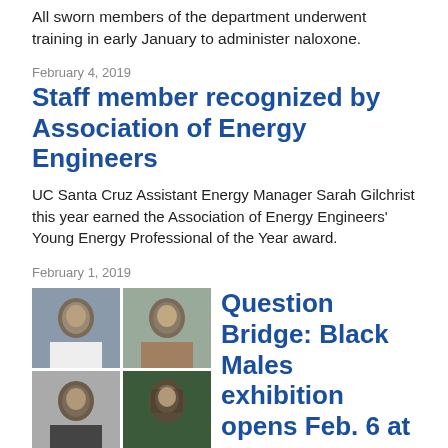All sworn members of the department underwent training in early January to administer naloxone.
February 4, 2019
Staff member recognized by Association of Energy Engineers
UC Santa Cruz Assistant Energy Manager Sarah Gilchrist this year earned the Association of Energy Engineers' Young Energy Professional of the Year award.
February 1, 2019
Question Bridge: Black Males exhibition opens Feb. 6 at Sesnon Art Gallery
[Figure (photo): Four portrait photos in a 2x2 grid showing Black male individuals]
'Question Bridge: Black Males' is an exhibition in which a wide array of videos have been merged together to